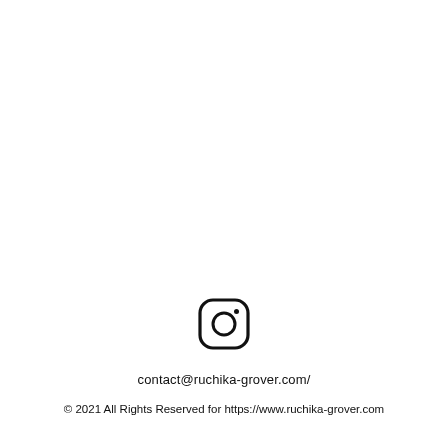[Figure (logo): Instagram logo icon — rounded square outline with a circle in the center and a small dot in the top-right corner, rendered in black on white background]
contact@ruchika-grover.com/
© 2021 All Rights Reserved for https://www.ruchika-grover.com